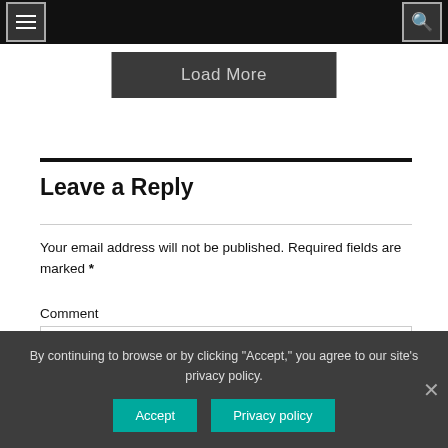Navigation bar with menu and search buttons
Load More
Leave a Reply
Your email address will not be published. Required fields are marked *
Comment
By continuing to browse or by clicking "Accept," you agree to our site's privacy policy.
Accept   Privacy policy